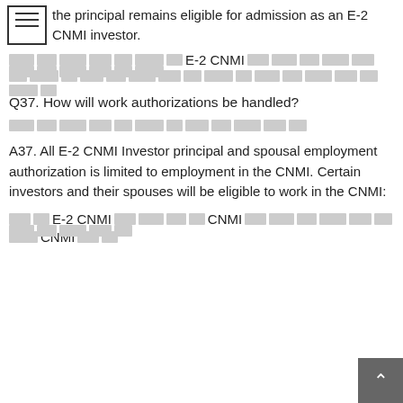the principal remains eligible for admission as an E-2 CNMI investor.
[redacted text] E-2 CNMI [redacted text]
Q37. How will work authorizations be handled?
[redacted text]
A37. All E-2 CNMI Investor principal and spousal employment authorization is limited to employment in the CNMI. Certain investors and their spouses will be eligible to work in the CNMI:
[redacted] E-2 CNMI [redacted] CNMI [redacted] CNMI [redacted]